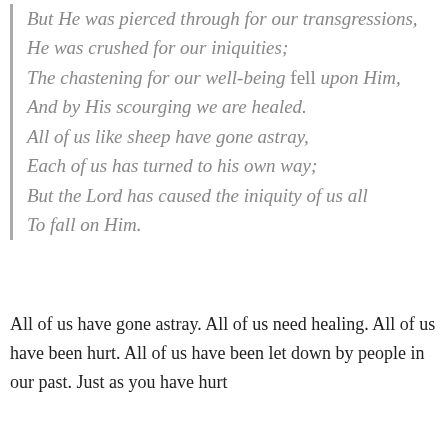But He was pierced through for our transgressions, He was crushed for our iniquities; The chastening for our well-being fell upon Him, And by His scourging we are healed. All of us like sheep have gone astray, Each of us has turned to his own way; But the Lord has caused the iniquity of us all To fall on Him.
All of us have gone astray. All of us need healing. All of us have been hurt. All of us have been let down by people in our past. Just as you have hurt others and others have hurt you, so will be...